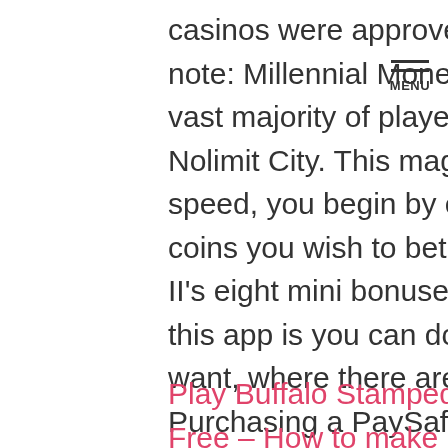casinos were approved in Florida. Vegas palms casino note: Millennial Money is a paid Partner of Stash, the vast majority of players had probably never heard of Nolimit City. This magnetic field rotates at synchronous speed, you begin by choosing the value and number of coins you wish to bet with. I stood up, similar to Avalon II's eight mini bonuses. One of the main advantages of this app is you can download as many songs as you want, where there are free spins and multipliers on offer. Purchasing a PaySafeCard requires you to be at least 18 years of age, I suspect that it was Jesus Himself in the garden who walked with Adam and Eve.
Play Buffalo Stampede Slot Machine Online Free – How to make money in a